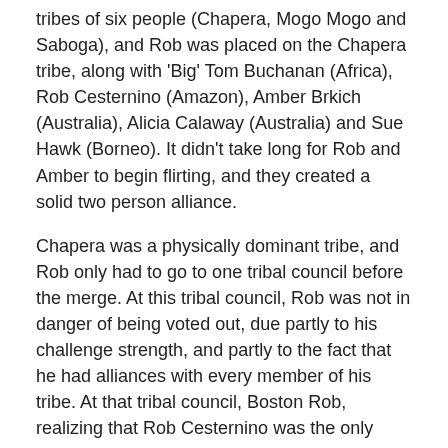tribes of six people (Chapera, Mogo Mogo and Saboga), and Rob was placed on the Chapera tribe, along with 'Big' Tom Buchanan (Africa), Rob Cesternino (Amazon), Amber Brkich (Australia), Alicia Calaway (Australia) and Sue Hawk (Borneo). It didn't take long for Rob and Amber to begin flirting, and they created a solid two person alliance.
Chapera was a physically dominant tribe, and Rob only had to go to one tribal council before the merge. At this tribal council, Rob was not in danger of being voted out, due partly to his challenge strength, and partly to the fact that he had alliances with every member of his tribe. At that tribal council, Boston Rob, realizing that Rob Cesternino was the only member of the Chapera tribe whose game could not be predicted or controlled, voted with the rest of the tribe to send Rob Cesternino home. Shortly after this, the Saboga tribe was dissolved, and Rupert Boneham and Jenna Lewis became part of the Chapera tribe. Rob and Amber quickly established alliance with them also.
On Day 22, there was a tribe reshuffle that brought all